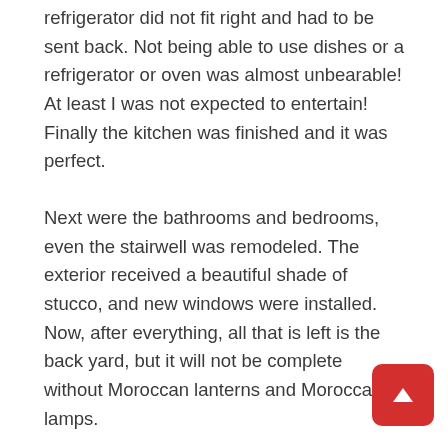refrigerator did not fit right and had to be sent back. Not being able to use dishes or a refrigerator or oven was almost unbearable! At least I was not expected to entertain! Finally the kitchen was finished and it was perfect.
Next were the bathrooms and bedrooms, even the stairwell was remodeled. The exterior received a beautiful shade of stucco, and new windows were installed. Now, after everything, all that is left is the back yard, but it will not be complete without Moroccan lanterns and Moroccan lamps.
Tables and chairs were the first thing to add. The tables that hold umbrellas are the best. I added two round tables and one long table.